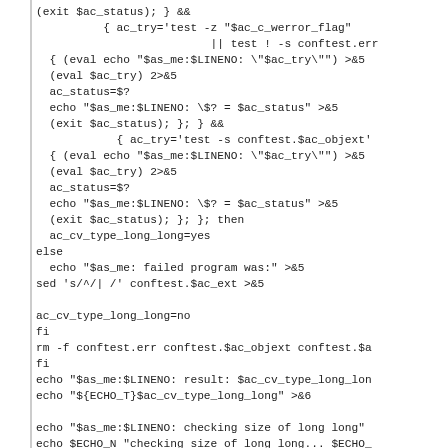(exit $ac_status); } &&
            { ac_try='test -z "$ac_c_werror_flag"
                            || test ! -s conftest.err
    { (eval echo "$as_me:$LINENO: \"$ac_try\"") >&5
    (eval $ac_try) 2>&5
    ac_status=$?
    echo "$as_me:$LINENO: \$? = $ac_status" >&5
    (exit $ac_status); }; } &&
              { ac_try='test -s conftest.$ac_objext'
    { (eval echo "$as_me:$LINENO: \"$ac_try\"") >&5
    (eval $ac_try) 2>&5
    ac_status=$?
    echo "$as_me:$LINENO: \$? = $ac_status" >&5
    (exit $ac_status); }; }; then
    ac_cv_type_long_long=yes
else
  echo "$as_me: failed program was:" >&5
sed 's/^/| /' conftest.$ac_ext >&5

ac_cv_type_long_long=no
fi
rm -f conftest.err conftest.$ac_objext conftest.$ac
fi
echo "$as_me:$LINENO: result: $ac_cv_type_long_lon
echo "${ECHO_T}$ac_cv_type_long_long" >&6

echo "$as_me:$LINENO: checking size of long long" :
echo $ECHO_N "checking size of long long... $ECHO_
if test "${ac_cv_sizeof_long_long+set}" = set; then
  echo $ECHO_N "(cached) $ECHO_C" >&6
else
  if test "$ac_cv_type_long_long" = yes; then